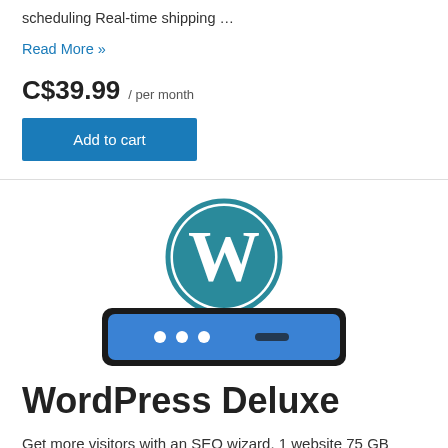scheduling Real-time shipping …
Read More »
C$39.99 / per month
Add to cart
[Figure (logo): WordPress logo (teal circular W icon) above a dark-bordered blue server bar with three dots and a dash]
WordPress Deluxe
Get more visitors with an SEO wizard. 1 website 75 GB storage Ideal for up to 100,000 visits per month Website backup protection